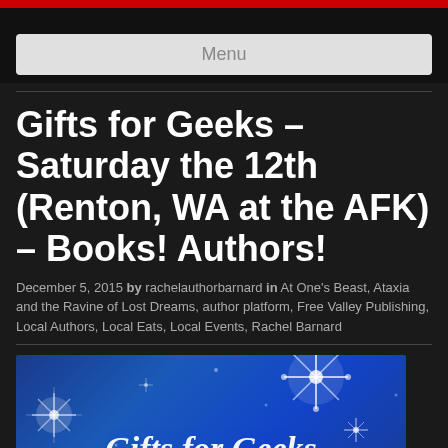Menu
Gifts for Geeks – Saturday the 12th (Renton, WA at the AFK) – Books! Authors!
December 5, 2015 by rachelauthorbarnard in At One's Beast, Ataxia and the Ravine of Lost Dreams, author platform, Free Valley Publishing, Local Authors, Local Eats, Local Events, Rachel Barnard
[Figure (illustration): Decorative banner image with blue background, snowflakes, and text reading 'Gifts for Geeks at the AFK E&E']